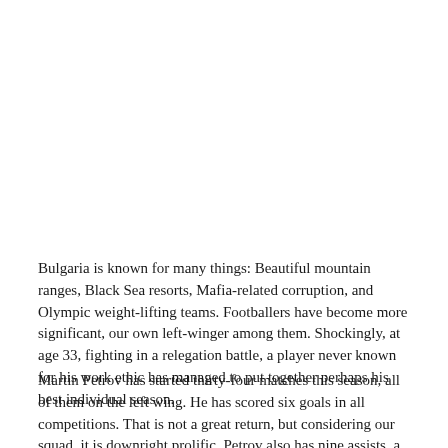Bulgaria is known for many things: Beautiful mountain ranges, Black Sea resorts, Mafia-related corruption, and Olympic weight-lifting teams. Footballers have become more significant, our own left-winger among them. Shockingly, at age 33, fighting in a relegation battle, a player never known for his work ethic has managed to put together perhaps his best individual season.
Martin Petrov has started thirty-four matches this season, all of them on the left wing. He has scored six goals in all competitions. That is not a great return, but considering our squad, it is downright prolific. Petrov also has nine assists, a good sign from a winger, especially one who puts in as many crosses as Petrov does. Pair that with his propensity for